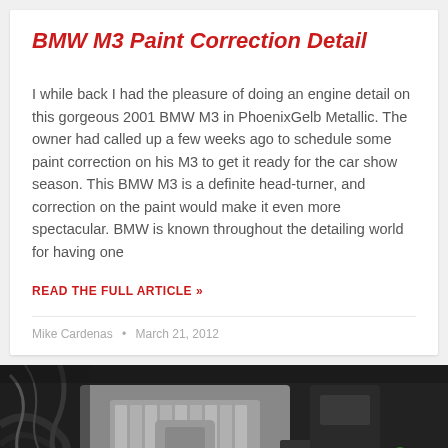BMW M3 Paint Correction Detail
I while back I had the pleasure of doing an engine detail on this gorgeous 2001 BMW M3 in PhoenixGelb Metallic. The owner had called up a few weeks ago to schedule some paint correction on his M3 to get it ready for the car show season. This BMW M3 is a definite head-turner, and correction on the paint would make it even more spectacular. BMW is known throughout the detailing world for having one
READ THE FULL ARTICLE »
Mike Cardenas • March 21, 2012
[Figure (photo): Close-up photo of a BMW engine bay showing the engine components including the BMW branded valve cover, intake manifold, and various engine parts in dark tones with an orange cap visible.]